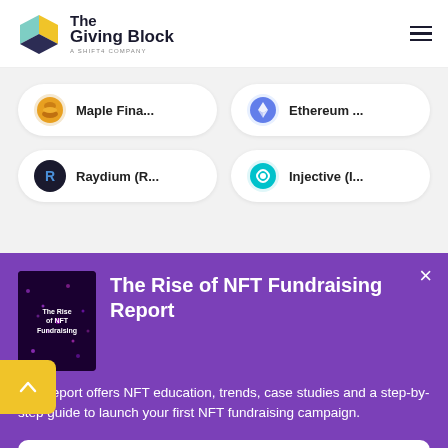[Figure (logo): The Giving Block logo — colorful cube icon with 'The Giving Block / A Shift4 Company' text]
[Figure (screenshot): Cryptocurrency selection grid showing Maple Finance, Ethereum, Raydium (R...), and Injective (I...) as pill-shaped buttons with icons]
The Rise of NFT Fundraising Report
This report offers NFT education, trends, case studies and a step-by-step guide to launch your first NFT fundraising campaign.
Download Report